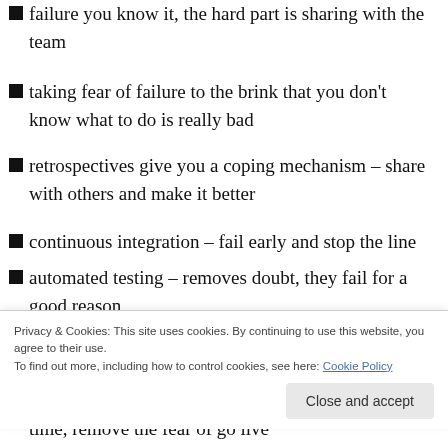failure you know it, the hard part is sharing with the team
taking fear of failure to the brink that you don't know what to do is really bad
retrospectives give you a coping mechanism – share with others and make it better
continuous integration – fail early and stop the line
automated testing – removes doubt, they fail for a good reason
showcases – we find out we are going to fail early
sustainable pace – a failure because we still get a time, remove the fear of go live
Privacy & Cookies: This site uses cookies. By continuing to use this website, you agree to their use.
To find out more, including how to control cookies, see here: Cookie Policy